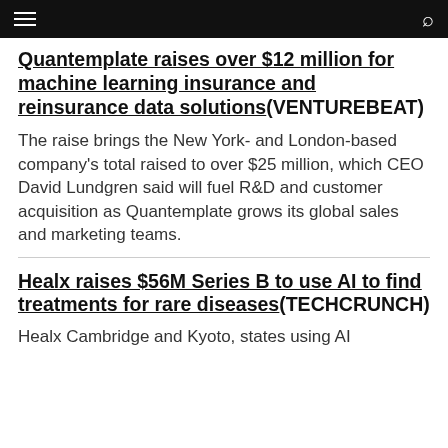Quantemplate raises over $12 million for machine learning insurance and reinsurance data solutions(VENTUREBEAT)
The raise brings the New York- and London-based company's total raised to over $25 million, which CEO David Lundgren said will fuel R&D and customer acquisition as Quantemplate grows its global sales and marketing teams.
Healx raises $56M Series B to use AI to find treatments for rare diseases(TECHCRUNCH)
Healx, Cambridge and Kyoto, states using AI...